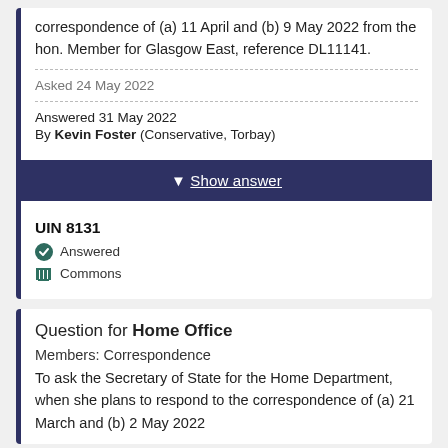correspondence of (a) 11 April and (b) 9 May 2022 from the hon. Member for Glasgow East, reference DL11141.
Asked 24 May 2022
Answered 31 May 2022
By Kevin Foster (Conservative, Torbay)
Show answer
UIN 8131
Answered
Commons
Question for Home Office
Members: Correspondence
To ask the Secretary of State for the Home Department, when she plans to respond to the correspondence of (a) 21 March and (b) 2 May 2022